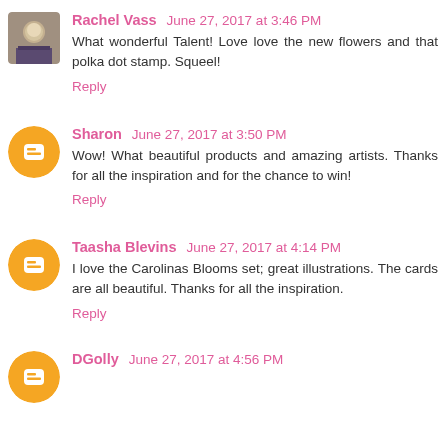Rachel Vass June 27, 2017 at 3:46 PM
What wonderful Talent! Love love the new flowers and that polka dot stamp. Squeel!
Reply
Sharon June 27, 2017 at 3:50 PM
Wow! What beautiful products and amazing artists. Thanks for all the inspiration and for the chance to win!
Reply
Taasha Blevins June 27, 2017 at 4:14 PM
I love the Carolinas Blooms set; great illustrations. The cards are all beautiful. Thanks for all the inspiration.
Reply
DGolly June 27, 2017 at 4:56 PM